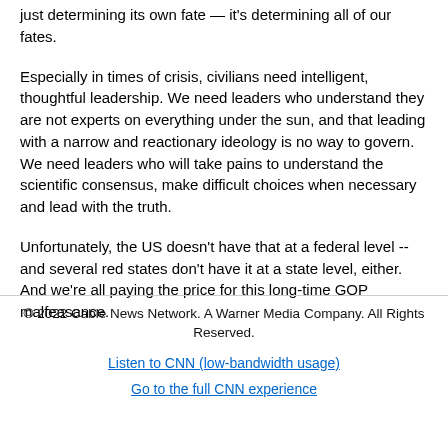just determining its own fate — it's determining all of our fates.
Especially in times of crisis, civilians need intelligent, thoughtful leadership. We need leaders who understand they are not experts on everything under the sun, and that leading with a narrow and reactionary ideology is no way to govern. We need leaders who will take pains to understand the scientific consensus, make difficult choices when necessary and lead with the truth.
Unfortunately, the US doesn't have that at a federal level -- and several red states don't have it at a state level, either. And we're all paying the price for this long-time GOP malfeasance.
© 2022 Cable News Network. A Warner Media Company. All Rights Reserved.
Listen to CNN (low-bandwidth usage)
Go to the full CNN experience